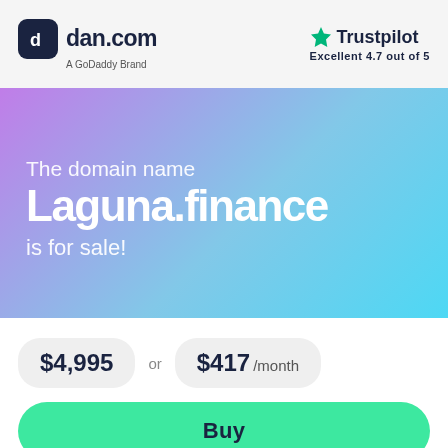[Figure (logo): dan.com logo - dark rounded square icon with white 'd' letter, followed by 'dan.com' text in dark navy, subtitle 'A GoDaddy Brand' below]
[Figure (logo): Trustpilot logo - green star icon followed by 'Trustpilot' text in dark navy, rating 'Excellent 4.7 out of 5' below]
[Figure (illustration): Gradient banner background from purple-blue to cyan with text overlay]
The domain name
Laguna.finance
is for sale!
$4,995 or $417 /month
Buy